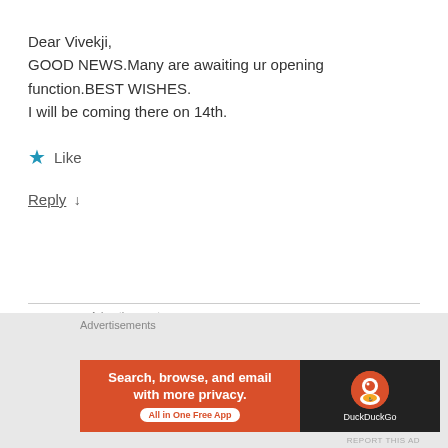Dear Vivekji,
GOOD NEWS.Many are awaiting ur opening function.BEST WISHES.
I will be coming there on 14th.
★ Like
Reply ↓
Advertisements
[Figure (screenshot): Dark navy blue advertisement banner: 'Your site. Built by us. Built for you.' with WordPress logo and 'Built By' text on right]
REPORT THIS AD
Advertisements
[Figure (screenshot): DuckDuckGo advertisement: orange left panel 'Search, browse, and email with more privacy. All in One Free App' and dark right panel with DuckDuckGo logo]